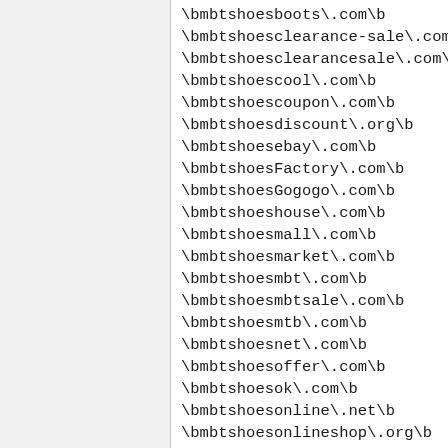\bmbtshoesbl2\.com\b
\bmbtshoesboots\.com\b
\bmbtshoesclearance-sale\.com\b
\bmbtshoesclearancesale\.com\b
\bmbtshoescool\.com\b
\bmbtshoescoupon\.com\b
\bmbtshoesdiscount\.org\b
\bmbtshoesebay\.com\b
\bmbtshoesFactory\.com\b
\bmbtshoesGogogo\.com\b
\bmbtshoeshouse\.com\b
\bmbtshoesmall\.com\b
\bmbtshoesmarket\.com\b
\bmbtshoesmbt\.com\b
\bmbtshoesmbtsale\.com\b
\bmbtshoesmtb\.com\b
\bmbtshoesnet\.com\b
\bmbtshoesoffer\.com\b
\bmbtshoesok\.com\b
\bmbtshoesonline\.net\b
\bmbtshoesonlineshop\.org\b
\bmbtshoesonlineusa\.com\b
\bmbtshoesonsale\.org\.uk\b
\bmbtshoesonsaleus\.com\b
\bmbtshoesport\.com\b